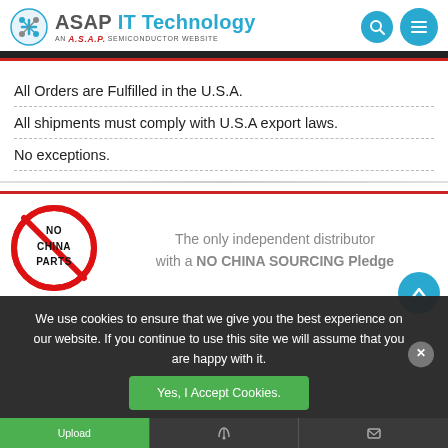ASAP IT Technology — AN A.S.A.P. SEMICONDUCTOR WEBSITE
All Orders are Fulfilled in the U.S.A.
All shipments must comply with U.S.A export laws.
No exceptions.
[Figure (logo): NO CHINA PARTS red circle prohibition sign with text NO CHINA PARTS inside]
The only independent distributor with a NO CHINA SOURCING Pledge
We use cookies to ensure that we give you the best experience on our website. If you continue to use this site we will assume that you are happy with it.
Yes, I Accept Cookies.